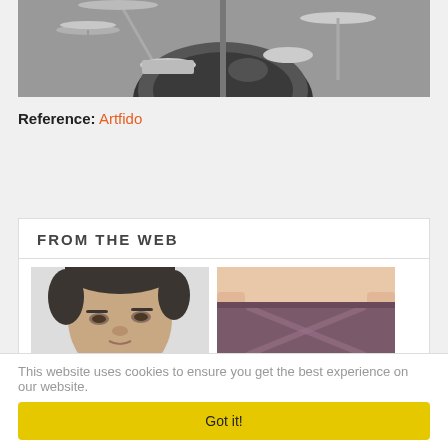[Figure (photo): Black and white photograph of a drum kit from above/front angle, showing cymbals, bass drum, and drum hardware]
Reference: Artfido
FROM THE WEB
[Figure (photo): Close-up photo of a man's face, looking slightly downward, with dark hair]
[Figure (photo): Photo of a person's midsection wearing purple/maroon shorts or underwear, hands on hips]
This website uses cookies to ensure you get the best experience on our website.
Got it!